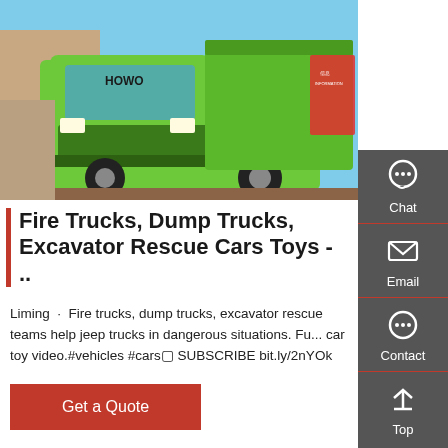[Figure (photo): A bright green HOWO dump truck parked outdoors, front and side view visible, with a red information sign on the right side of the truck.]
Fire Trucks, Dump Trucks, Excavator Rescue Cars Toys - ...
Liming · Fire trucks, dump trucks, excavator rescue teams help jeep trucks in dangerous situations. Fu... car toy video.#vehicles #cars⬛ SUBSCRIBE bit.ly/2nYOk
Get a Quote